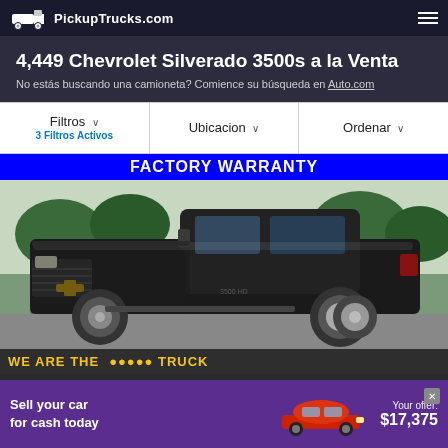PickupTrucks.com
4,449 Chevrolet Silverado 3500s a la Venta
No estás buscando una camioneta? Comience su búsqueda en Auto.com
Filtros ∨   3 Filtros Activos | Ubicacion ∨ | Ordenar ∨
[Figure (photo): Black Chevrolet Silverado 3500 pickup truck displayed at a dealership with a blue FACTORY WARRANTY banner at top and a yellow 'WE ARE THE ... TRUCK' dealership banner at bottom]
[Figure (photo): Advertisement banner: 'Sell your car for cash today' with image of red car and offer of $17,375]